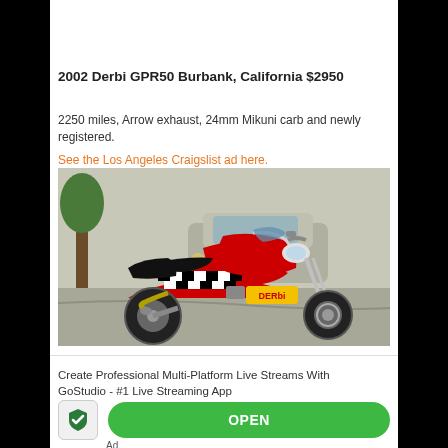2002 Derbi GPR50 Burbank, California $2950
2250 miles, Arrow exhaust, 24mm Mikuni carb and newly registered.
See the Los Angeles Craigslist ad here.
[Figure (photo): Red and black Derbi GPR50 motorcycle with checkered pattern fairing, parked outdoors with a silver car in the background.]
Create Professional Multi-Platform Live Streams With GoStudio - #1 Live Streaming App
Ad